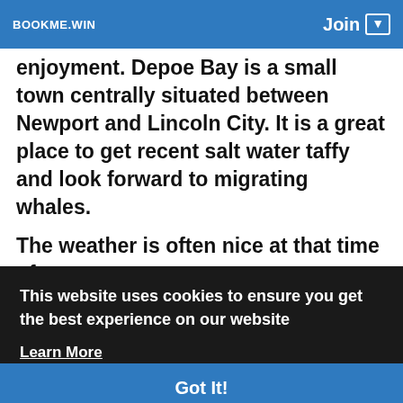BOOKME.WIN   Join
enjoyment. Depoe Bay is a small town centrally situated between Newport and Lincoln City. It is a great place to get recent salt water taffy and look forward to migrating whales.
The weather is often nice at that time of
This website uses cookies to ensure you get the best experience on our website
Learn More
Got It!
want somewhat area, and you can work off